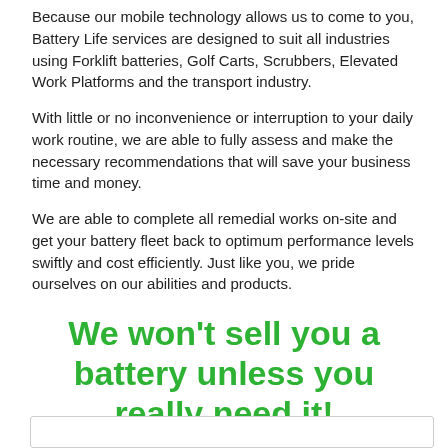Because our mobile technology allows us to come to you, Battery Life services are designed to suit all industries using Forklift batteries, Golf Carts, Scrubbers, Elevated Work Platforms and the transport industry.
With little or no inconvenience or interruption to your daily work routine, we are able to fully assess and make the necessary recommendations that will save your business time and money.
We are able to complete all remedial works on-site and get your battery fleet back to optimum performance levels swiftly and cost efficiently. Just like you, we pride ourselves on our abilities and products.
We won't sell you a battery unless you really need it!